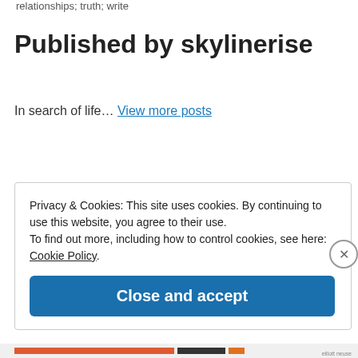relationships; truth; write
Published by skylinerise
In search of life… View more posts
Privacy & Cookies: This site uses cookies. By continuing to use this website, you agree to their use.
To find out more, including how to control cookies, see here: Cookie Policy
Close and accept